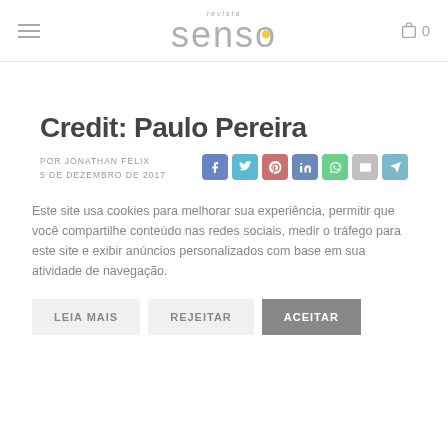revista senso — navigation header with cart icon
Credit: Paulo Pereira
POR JONATHAN FELIX
5 DE DEZEMBRO DE 2017
[Figure (infographic): Social sharing icons: Facebook, Twitter, Pinterest, LinkedIn, WhatsApp, Email, Telegram]
Este site usa cookies para melhorar sua experiência, permitir que você compartilhe conteúdo nas redes sociais, medir o tráfego para este site e exibir anúncios personalizados com base em sua atividade de navegação.
LEIA MAIS   REJEITAR   ACEITAR